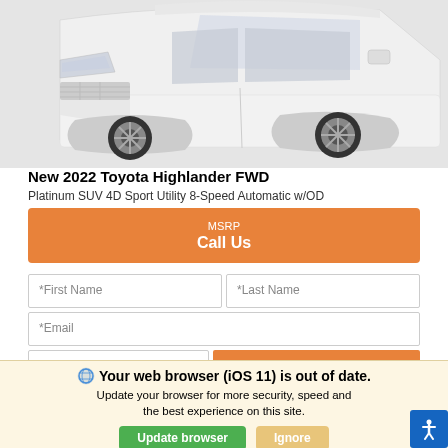[Figure (photo): Partial front view of a white 2022 Toyota Highlander SUV on a light gray background]
New 2022 Toyota Highlander FWD
Platinum SUV 4D Sport Utility 8-Speed Automatic w/OD
MSRP
Call Us
*First Name
*Last Name
*Email
Phone
Get Our Best Price
Your web browser (iOS 11) is out of date.
Update your browser for more security, speed and the best experience on this site.
Update browser
Ignore